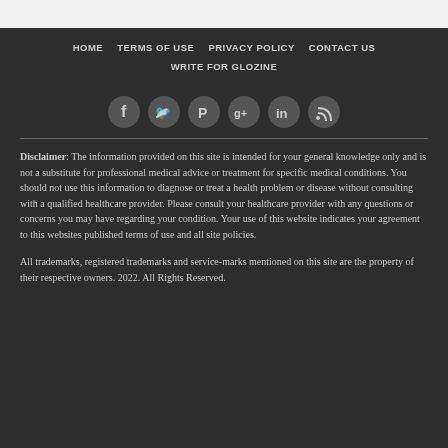HOME | TERMS OF USE | PRIVACY POLICY | CONTACT US | WRITE FOR GLOZINE
[Figure (infographic): Row of six social media icons (Facebook, Twitter, Pinterest, Google+, LinkedIn, RSS) as dark circular buttons]
Disclaimer: The information provided on this site is intended for your general knowledge only and is not a substitute for professional medical advice or treatment for specific medical conditions. You should not use this information to diagnose or treat a health problem or disease without consulting with a qualified healthcare provider. Please consult your healthcare provider with any questions or concerns you may have regarding your condition. Your use of this website indicates your agreement to this websites published terms of use and all site policies.
All trademarks, registered trademarks and service-marks mentioned on this site are the property of their respective owners. 2022. All Rights Reserved.